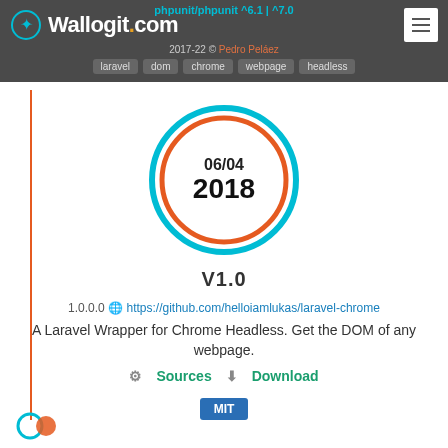phpunit/phpunit ^6.1 | ^7.0 — Wallogit.com — 2017-22 © Pedro Peláez — laravel dom chrome webpage headless
[Figure (other): Circular date badge with teal outer ring and orange inner ring showing '06/04' and '2018']
V1.0
1.0.0.0 https://github.com/helloiamlukas/laravel-chrome
A Laravel Wrapper for Chrome Headless. Get the DOM of any webpage.
⚙ Sources ⬇ Download
MIT